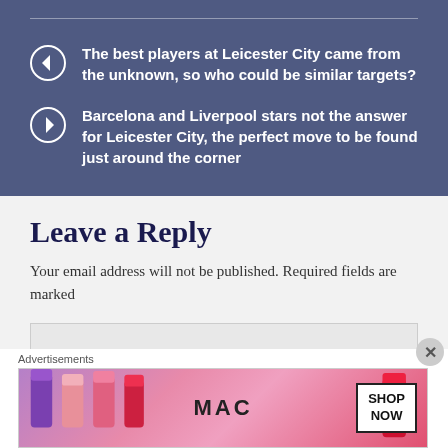The best players at Leicester City came from the unknown, so who could be similar targets?
Barcelona and Liverpool stars not the answer for Leicester City, the perfect move to be found just around the corner
Leave a Reply
Your email address will not be published. Required fields are marked
[Figure (other): Advertisement banner for MAC cosmetics with lipstick products and SHOP NOW button]
Advertisements